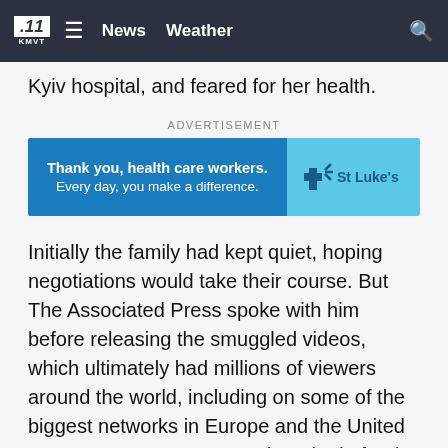KMVT 11 | News Weather
Kyiv hospital, and feared for her health.
[Figure (other): Advertisement banner: Thank you, health care workers. Every day, you make a difference. St Luke's]
Initially the family had kept quiet, hoping negotiations would take their course. But The Associated Press spoke with him before releasing the smuggled videos, which ultimately had millions of viewers around the world, including on some of the biggest networks in Europe and the United States. Puzanov expressed gratitude for the coverage, which showed Taira was trying to save Russian soldiers as well as Ukrainian civilians.